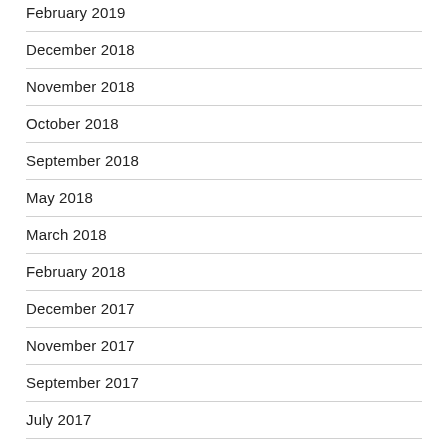February 2019
December 2018
November 2018
October 2018
September 2018
May 2018
March 2018
February 2018
December 2017
November 2017
September 2017
July 2017
May 2017
April 2017